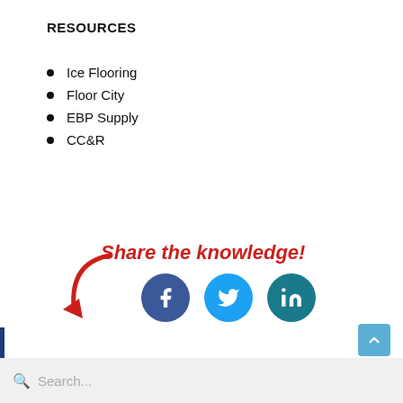RESOURCES
Ice Flooring
Floor City
EBP Supply
CC&R
[Figure (infographic): Red curved arrow pointing downward-right with italic bold red text 'Share the knowledge!' and three social media icon circles: Facebook (dark blue), Twitter (light blue), LinkedIn (teal)]
Search...